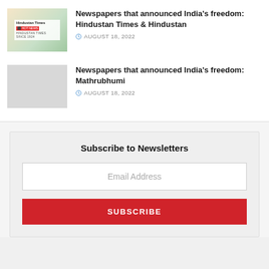[Figure (photo): Thumbnail image of Hindustan Times newspaper front page with green background]
Newspapers that announced India's freedom: Hindustan Times & Hindustan
AUGUST 18, 2022
[Figure (photo): Gray placeholder thumbnail for Mathrubhumi article]
Newspapers that announced India's freedom: Mathrubhumi
AUGUST 18, 2022
Subscribe to Newsletters
Email Address
SUBSCRIBE